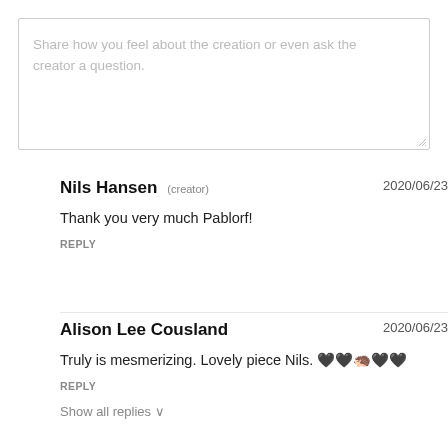Share how you feel about the creation or even ask the creator a question.
Nils Hansen (creator) 2020/06/23
Thank you very much Pablorf!
REPLY
Alison Lee Cousland 2020/06/23
Truly is mesmerizing. Lovely piece Nils. 🖤🖤🦔🖤🖤
REPLY
Show all replies ∨